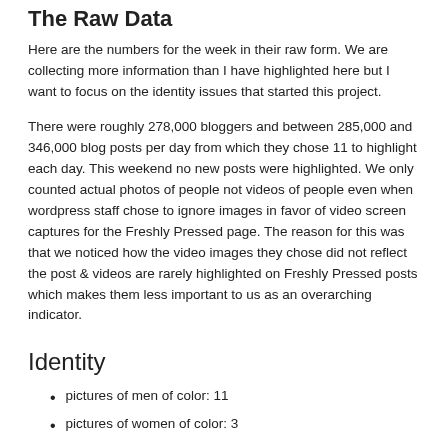The Raw Data
Here are the numbers for the week in their raw form. We are collecting more information than I have highlighted here but I want to focus on the identity issues that started this project.
There were roughly 278,000 bloggers and between 285,000 and 346,000 blog posts per day from which they chose 11 to highlight each day. This weekend no new posts were highlighted. We only counted actual photos of people not videos of people even when wordpress staff chose to ignore images in favor of video screen captures for the Freshly Pressed page. The reason for this was that we noticed how the video images they chose did not reflect the post & videos are rarely highlighted on Freshly Pressed posts which makes them less important to us as an overarching indicator.
Identity
pictures of men of color: 11
pictures of women of color: 3